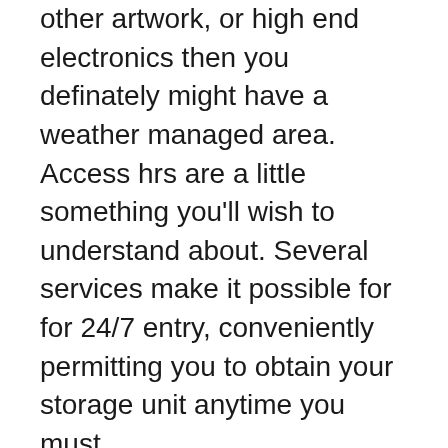other artwork, or high end electronics then you definately might have a weather managed area. Access hrs are a little something you'll wish to understand about. Several services make it possible for for 24/7 entry, conveniently permitting you to obtain your storage unit anytime you must.
This is able to be practical in case you function odd hrs and could ought to get things outside of typical business several hours. What about shelling out in your storage unit? Does the facility make it possible for for automated payment by using a credit card? Or greater but, could you pay on the net through the firm's website? These alternatives present you comfort and allow it to be quick to complete small business along with the storage facility. How will you get your stuff in the cupboard space? More and more